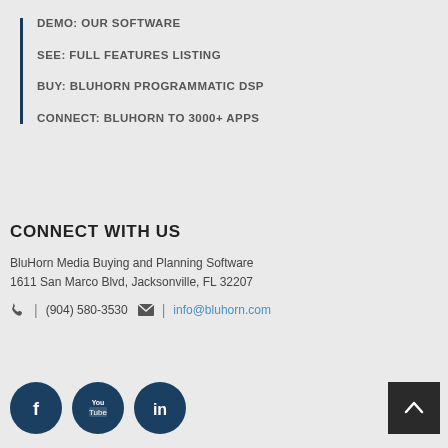DEMO: OUR SOFTWARE
SEE: FULL FEATURES LISTING
BUY: BLUHORN PROGRAMMATIC DSP
CONNECT: BLUHORN TO 3000+ APPS
CONNECT WITH US
BluHorn Media Buying and Planning Software
1611 San Marco Blvd, Jacksonville, FL 32207
(904) 580-3530 | info@bluhorn.com
[Figure (illustration): Social media icons: Facebook, YouTube, LinkedIn circles in dark navy blue, and a back-to-top arrow button in dark gray]